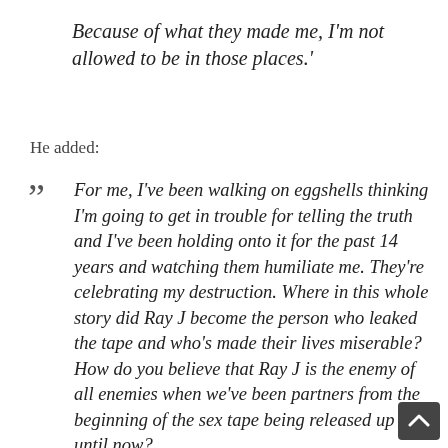Because of what they made me, I'm not allowed to be in those places.'
He added:
For me, I've been walking on eggshells thinking I'm going to get in trouble for telling the truth and I've been holding onto it for the past 14 years and watching them humiliate me. They're celebrating my destruction. Where in this whole story did Ray J become the person who leaked the tape and who's made their lives miserable? How do you believe that Ray J is the enemy of all enemies when we've been partners from the beginning of the sex tape being released up until now? We're all still making money. But yet y